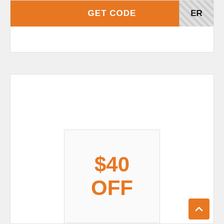[Figure (screenshot): Orange GET CODE button bar at the top of a coupon card, with a hatched/diagonal-striped tab on the right showing 'ER']
[Figure (screenshot): White coupon card showing '$40 OFF' in large orange bold text inside a bordered box]
$40 off orders above $200!
Claim a $40 discount when you make an order at Cozy Earth.